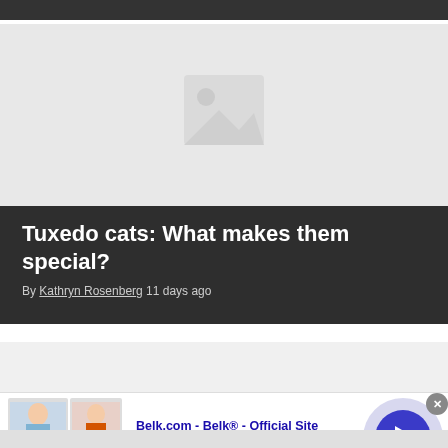[Figure (photo): Article card with placeholder image (mountain/landscape icon) and dark overlay with title and byline]
Tuxedo cats: What makes them special?
By Kathryn Rosenberg 11 days ago
[Figure (screenshot): Second article card partial view with light gray background]
[Figure (photo): Advertisement for Belk.com showing two women in colorful skirts]
Belk.com - Belk® - Official Site
Up To 75% Mens & Womens Shorts, Alts, Skirts & Swim
www.belk.com